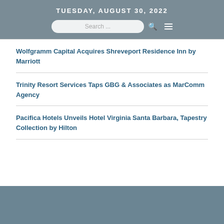TUESDAY, AUGUST 30, 2022
Search ...
Wolfgramm Capital Acquires Shreveport Residence Inn by Marriott
Trinity Resort Services Taps GBG & Associates as MarComm Agency
Pacifica Hotels Unveils Hotel Virginia Santa Barbara, Tapestry Collection by Hilton
[Figure (photo): Blue-grey colored image at the bottom of the page, appears to be a hotel or resort exterior photo, partially visible.]